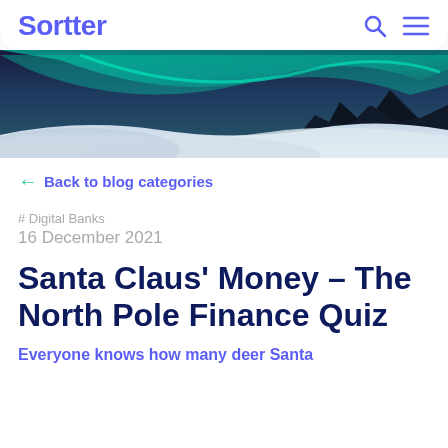Sortter
[Figure (photo): Aurora borealis / northern lights over snowy landscape with dark mountains, teal and purple sky]
← Back to blog categories
# Digital Banks
16 December 2021
Santa Claus' Money – The North Pole Finance Quiz
Everyone knows how many deer Santa